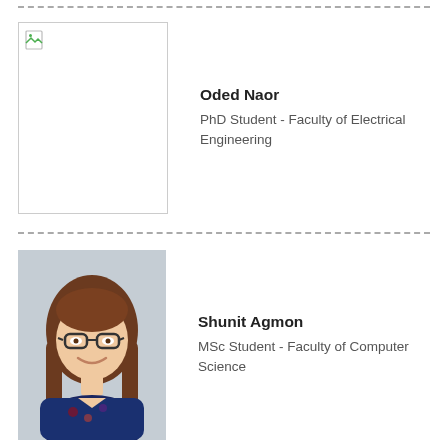[Figure (photo): Broken/missing photo placeholder for Oded Naor]
Oded Naor
PhD Student - Faculty of Electrical Engineering
[Figure (photo): Photo of Shunit Agmon, a young woman with glasses and long brown hair, smiling, wearing a dark blue floral top]
Shunit Agmon
MSc Student - Faculty of Computer Science